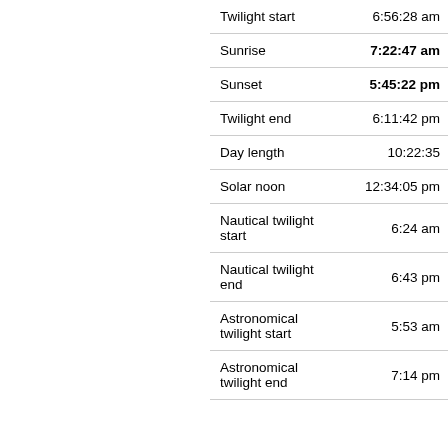| Event | Time |
| --- | --- |
| Twilight start | 6:56:28 am |
| Sunrise | 7:22:47 am |
| Sunset | 5:45:22 pm |
| Twilight end | 6:11:42 pm |
| Day length | 10:22:35 |
| Solar noon | 12:34:05 pm |
| Nautical twilight start | 6:24 am |
| Nautical twilight end | 6:43 pm |
| Astronomical twilight start | 5:53 am |
| Astronomical twilight end | 7:14 pm |